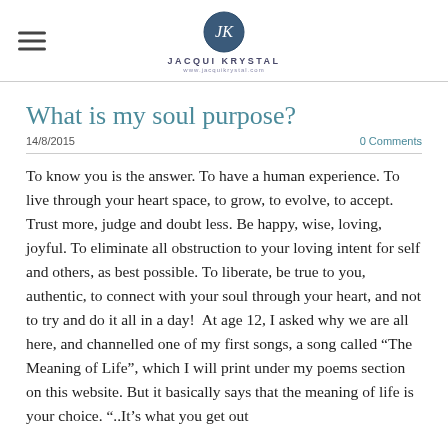Jacqui Krystal
What is my soul purpose?
14/8/2015    0 Comments
To know you is the answer. To have a human experience. To live through your heart space, to grow, to evolve, to accept. Trust more, judge and doubt less. Be happy, wise, loving, joyful. To eliminate all obstruction to your loving intent for self and others, as best possible. To liberate, be true to you, authentic, to connect with your soul through your heart, and not to try and do it all in a day!  At age 12, I asked why we are all here, and channelled one of my first songs, a song called “The Meaning of Life”, which I will print under my poems section on this website. But it basically says that the meaning of life is your choice. “..It’s what you get out